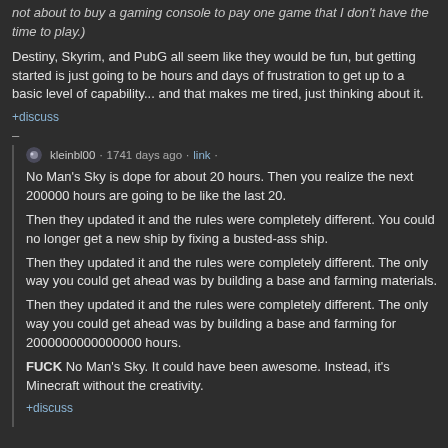not about to buy a gaming console to pay one game that I don't have the time to play.)
Destiny, Skyrim, and PubG all seem like they would be fun, but getting started is just going to be hours and days of frustration to get up to a basic level of capability... and that makes me tired, just thinking about it.
+discuss
–
kleinbl00 · 1741 days ago · link ·
No Man's Sky is dope for about 20 hours. Then you realize the next 200000 hours are going to be like the last 20.
Then they updated it and the rules were completely different. You could no longer get a new ship by fixing a busted-ass ship.
Then they updated it and the rules were completely different. The only way you could get ahead was by building a base and farming materials.
Then they updated it and the rules were completely different. The only way you could get ahead was by building a base and farming for 2000000000000000 hours.
FUCK No Man's Sky. It could have been awesome. Instead, it's Minecraft without the creativity.
+discuss